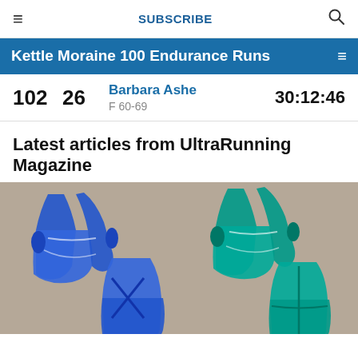≡   SUBSCRIBE   🔍
Kettle Moraine 100 Endurance Runs
| # | AG | Name / Category | Time |
| --- | --- | --- | --- |
| 102 | 26 | Barbara Ashe
F 60-69 | 30:12:46 |
Latest articles from UltraRunning Magazine
[Figure (photo): Four running hydration vests shown from front and back views — two blue vests on the left and two teal/green vests on the right, displayed against a tan/beige background.]